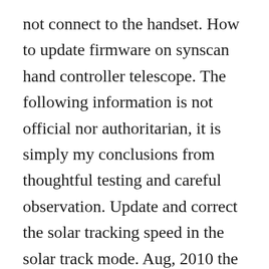not connect to the handset. How to update firmware on synscan hand controller telescope. The following information is not official nor authoritarian, it is simply my conclusions from thoughtful testing and careful observation. Update and correct the solar tracking speed in the solar track mode. Aug, 2010 the sky watcher az synscan goto series of telescopes part 1 of 2 part 1 details the specifics of this telescope range. The orion az eq computerized goto hand controller is compatible with the orion atlas eqg, sirius eqg, skyview pro goto, and starblast. This